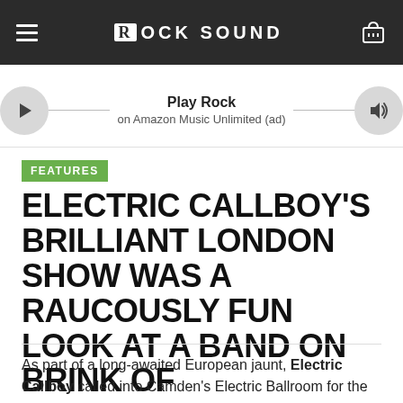ROCK SOUND
[Figure (infographic): Amazon Music Unlimited ad banner with play button, speaker icon, and text 'Play Rock on Amazon Music Unlimited (ad)']
FEATURES
ELECTRIC CALLBOY'S BRILLIANT LONDON SHOW WAS A RAUCOUSLY FUN LOOK AT A BAND ON BRINK OF SUPERSTARDOM
As part of a long-awaited European jaunt, Electric Callboy called into Camden's Electric Ballroom for the